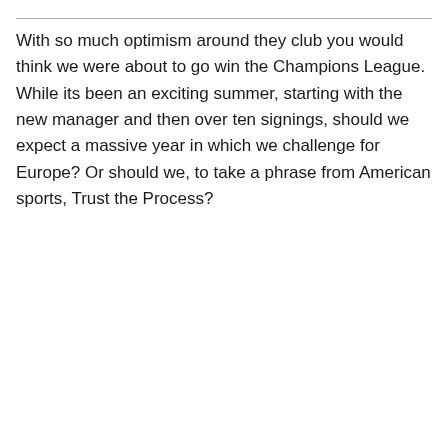With so much optimism around they club you would think we were about to go win the Champions League. While its been an exciting summer, starting with the new manager and then over ten signings, should we expect a massive year in which we challenge for Europe? Or should we, to take a phrase from American sports, Trust the Process?